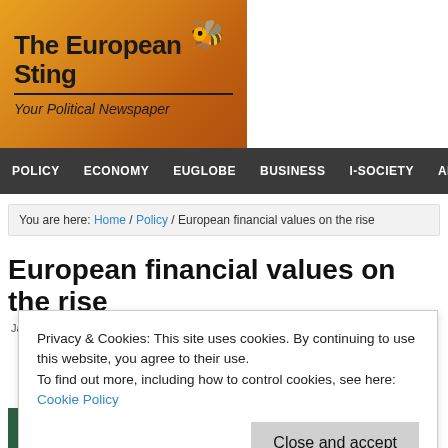[Figure (logo): The European Sting newspaper logo on orange/gold gradient background with bee illustration]
POLICY  ECONOMY  EUGLOBE  BUSINESS  I-SOCIETY  ABOUT
You are here: Home / Policy / European financial values on the rise
European financial values on the rise
January 11, 2013 by Mario Milov   Leave a Comment
Privacy & Cookies: This site uses cookies. By continuing to use this website, you agree to their use.
To find out more, including how to control cookies, see here: Cookie Policy
[Figure (photo): Article image at bottom of page]